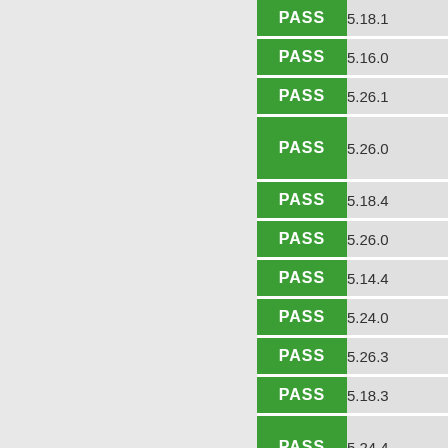| Status | Version | OS |
| --- | --- | --- |
| PASS | 5.18.1 | GNU/Linux |
| PASS | 5.16.0 | GNU/Linux |
| PASS | 5.26.1 | FreeBSD |
| PASS | 5.26.0 | Debian GNU/kFreeBSD |
| PASS | 5.18.4 | GNU/Linux |
| PASS | 5.26.0 | FreeBSD |
| PASS | 5.14.4 | GNU/Linux |
| PASS | 5.24.0 | Windows (Win...) |
| PASS | 5.26.3 | FreeBSD |
| PASS | 5.18.3 | GNU/Linux |
| PASS | 5.24.4 | Debian GNU/kFreeBSD |
| PASS | 5.14.4 | GNU/Linux |
| PASS | 5.22.1 | Windows (Win...) |